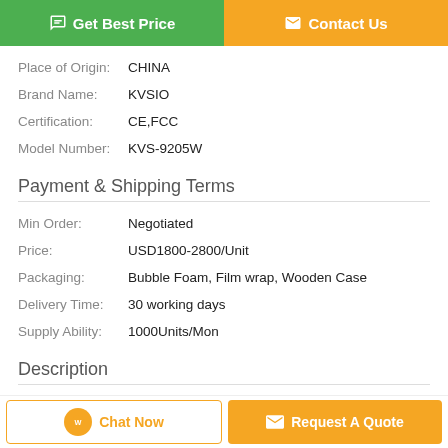Get Best Price | Contact Us
| Field | Value |
| --- | --- |
| Place of Origin: | CHINA |
| Brand Name: | KVSIO |
| Certification: | CE,FCC |
| Model Number: | KVS-9205W |
Payment & Shipping Terms
| Field | Value |
| --- | --- |
| Min Order: | Negotiated |
| Price: | USD1800-2800/Unit |
| Packaging: | Bubble Foam, Film wrap, Wooden Case |
| Delivery Time: | 30 working days |
| Supply Ability: | 1000Units/Mon |
Description
Chat Now | Request A Quote